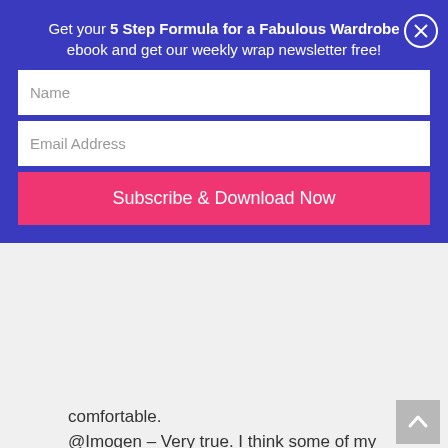Get your 5 Step Formula for a Fabulous Wardrobe ebook and get our weekly wrap newsletter free!
[Figure (screenshot): Email signup form with Name field, Email Address field, and Subscribe & Download Now button in pink, on a blue background with close (X) button]
comfortable.
@Imogen – Very true. I think some of my coworkers have gotten used to it, except when I wear this one particular dress – a black shift with a modest V-neckline and a flattering hem length. I often wear this with two of my only blazers, and they're quite "dressed up." I'm trying to find denim blazers and good cardigans – which is a challenge to find for me, for